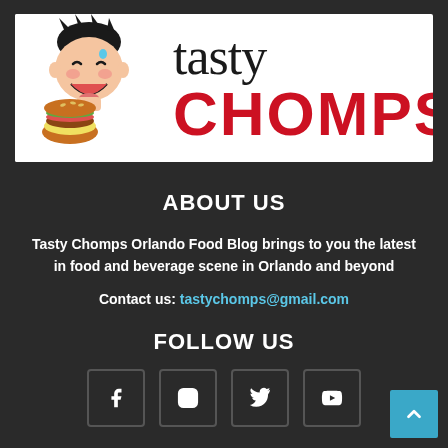[Figure (logo): Tasty Chomps logo with cartoon mascot (smiling boy eating burger) on left and 'tasty CHOMPS' text on right with red bold lettering]
ABOUT US
Tasty Chomps Orlando Food Blog brings to you the latest in food and beverage scene in Orlando and beyond
Contact us: tastychomps@gmail.com
FOLLOW US
[Figure (infographic): Four social media icon boxes: Facebook (f), Instagram (camera), Twitter (bird), YouTube (play button)]